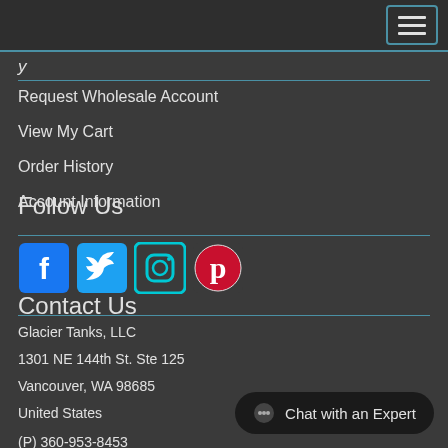Navigation menu header bar
y
Request Wholesale Account
View My Cart
Order History
Account Information
Follow Us
[Figure (other): Social media icons: Facebook, Twitter, Instagram, Pinterest]
Contact Us
Glacier Tanks, LLC
1301 NE 144th St. Ste 125
Vancouver, WA 98685
United States
(P) 360-953-8453
(E) support@glaciertanks.com
[Figure (other): Chat with an Expert button]